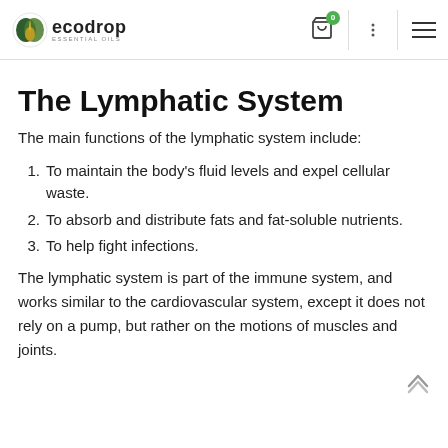ecodrop essential oils
The Lymphatic System
The main functions of the lymphatic system include:
To maintain the body's fluid levels and expel cellular waste.
To absorb and distribute fats and fat-soluble nutrients.
To help fight infections.
The lymphatic system is part of the immune system, and works similar to the cardiovascular system, except it does not rely on a pump, but rather on the motions of muscles and joints.